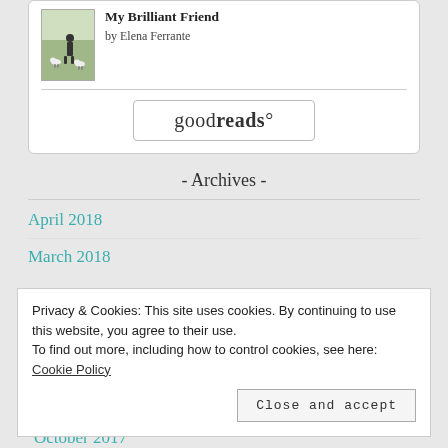[Figure (illustration): Book widget showing 'My Brilliant Friend' by Elena Ferrante with a book cover image and goodreads button]
My Brilliant Friend
by Elena Ferrante
- Archives -
April 2018
March 2018
Privacy & Cookies: This site uses cookies. By continuing to use this website, you agree to their use.
To find out more, including how to control cookies, see here: Cookie Policy
October 2017